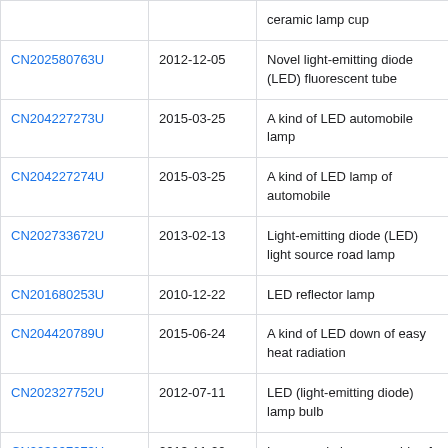| Patent Number | Date | Description |
| --- | --- | --- |
|  |  | ceramic lamp cup |
| CN202580763U | 2012-12-05 | Novel light-emitting diode (LED) fluorescent tube |
| CN204227273U | 2015-03-25 | A kind of LED automobile lamp |
| CN204227274U | 2015-03-25 | A kind of LED lamp of automobile |
| CN202733672U | 2013-02-13 | Light-emitting diode (LED) light source road lamp |
| CN201680253U | 2010-12-22 | LED reflector lamp |
| CN204420789U | 2015-06-24 | A kind of LED down of easy heat radiation |
| CN202327752U | 2012-07-11 | LED (light-emitting diode) lamp bulb |
| CN203297973U | 2013-11-20 | Large-angle lamp capable of dissipating heat |
| CN203322963U | 2013-12-04 | LED (Light Emitting Diode) lamp / infra-heat |